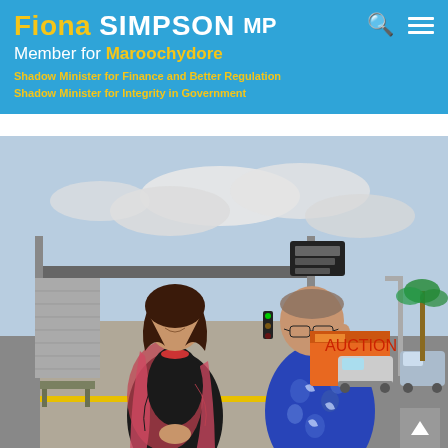Fiona SIMPSON MP Member for Maroochydore Shadow Minister for Finance and Better Regulation Shadow Minister for Integrity in Government
[Figure (photo): Two people standing and talking at a bus station or transit stop. On the left is a woman wearing a red necklace and a dark floral cardigan over a black top. On the right is an older man wearing a blue floral Hawaiian shirt and glasses. A road with vehicles including an orange truck is visible in the background, along with streetlights and palm trees under a partly cloudy sky.]